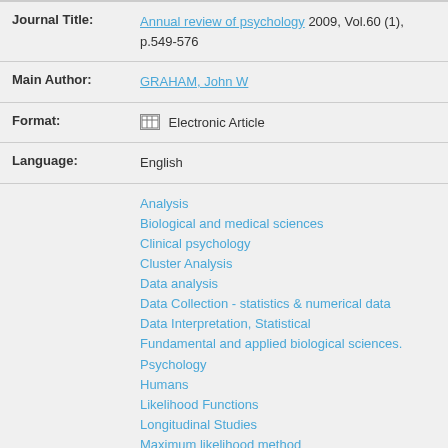Journal Title: Annual review of psychology 2009, Vol.60 (1), p.549-576
Main Author: GRAHAM, John W
Format: Electronic Article
Language: English
Analysis
Biological and medical sciences
Clinical psychology
Cluster Analysis
Data analysis
Data Collection - statistics & numerical data
Data Interpretation, Statistical
Fundamental and applied biological sciences. Psychology
Humans
Likelihood Functions
Longitudinal Studies
Maximum likelihood method
Medical diagnosis
Missing observations (Statistics)
Models, Statistical
Multiple imputation (Statistics)